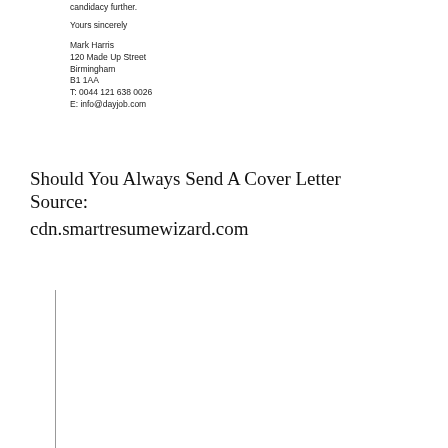candidacy further.
Yours sincerely
Mark Harris
120 Made Up Street
Birmingham
B1 1AA
T: 0044 121 638 0026
E: info@dayjob.com
Should You Always Send A Cover Letter Source:
cdn.smartresumewizard.com
[Figure (infographic): Infographic titled 'Writing a Cover Letter' with body text about cover letters and a sample letter layout with callout boxes explaining contact information placement and salutation guidance.]